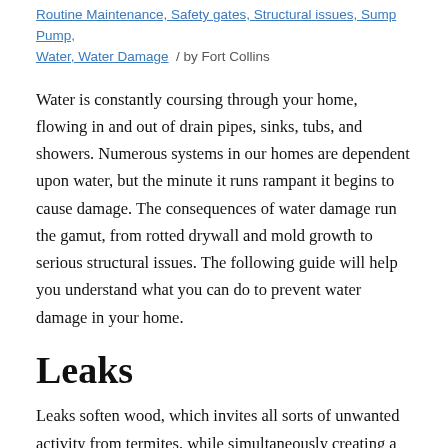Routine Maintenance, Safety gates, Structural issues, Sump Pump, Water, Water Damage  /  by Fort Collins
Water is constantly coursing through your home, flowing in and out of drain pipes, sinks, tubs, and showers. Numerous systems in our homes are dependent upon water, but the minute it runs rampant it begins to cause damage. The consequences of water damage run the gamut, from rotted drywall and mold growth to serious structural issues. The following guide will help you understand what you can do to prevent water damage in your home.
Leaks
Leaks soften wood, which invites all sorts of unwanted activity from termites, while simultaneously creating a perfect habitat for mold and mildew growth. To prevent leaks, keep your drains healthy by frequently cleaning out your drain strainers and refraining from dumping grease down your drains. Check to make sure none of your drains are leaking and if need be, repair or replace your p-traps. Drips, dark